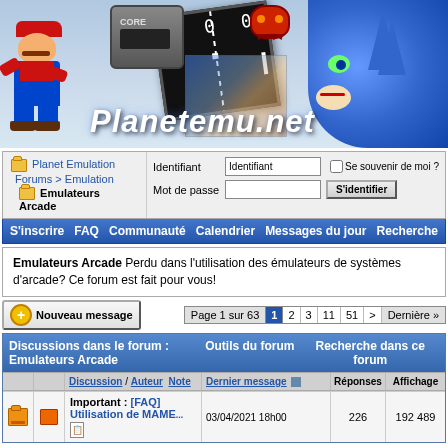[Figure (illustration): Planetemu.net website banner with Mario, Sonic, Pong screen, and arcade game characters. Title reads 'Planetemu.net' in white italic text.]
Planet Emulation Forums > Emulation > Emulateurs Arcade
Identifiant | Mot de passe | Se souvenir de moi ? | S'identifier
S'inscrire   FAQ   Communauté   Calendrier   Messages du jour   Recherche
Emulateurs Arcade Perdu dans l'utilisation des émulateurs de systèmes d'arcade? Ce forum est fait pour vous!
Nouveau message   Page 1 sur 63   1  2  3  11  51  >  Dernière »
| Discussions dans le forum : Emulateurs Arcade | Outils du forum | Recherche dans ce forum |
| --- | --- | --- |
| Discussion / Auteur   Note | Dernier message | Réponses | Affichage |
| Important : [FAQ] Utilisation de MAME... | 03/04/2021 18h00 | 226 | 192 489 |